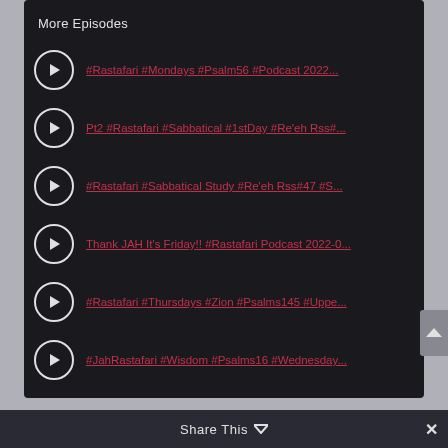More Episodes
#Rastafari #Mondays #Psalm56 #Podcast 2022...
Pt2 #Rastafari #Sabbatical #1stDay #Re'eh Rss#...
#Rastafari #Sabbatical Study #Re'eh Rss#47 #S...
Thank JAH It's Friday!! #Rastafari Podcast 2022-0...
#Rastafari #Thursdays #Zion #Psalms145 #Uppe...
#JahRastafari #Wisdom #Psalms16 #Wednesday...
Share This